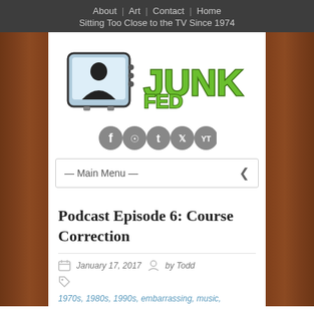About | Art | Contact | Home
Sitting Too Close to the TV Since 1974
[Figure (logo): Junk Fed logo: TV silhouette icon on left, green bold text JUNK FED on right]
[Figure (infographic): Row of 5 circular social media icons: Facebook, RSS, Tumblr, Twitter, YouTube]
— Main Menu —
Podcast Episode 6: Course Correction
January 17, 2017  by Todd
1970s, 1980s, 1990s, embarrassing, music, nostalgia, podcast, video games, vintage
no comment